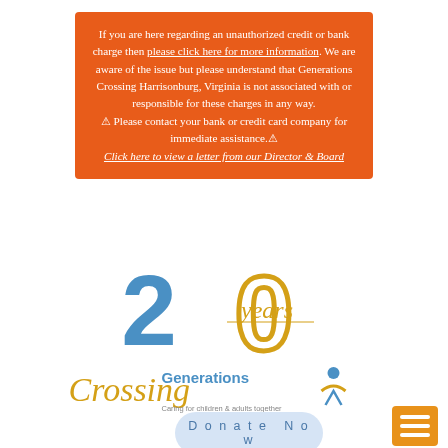If you are here regarding an unauthorized credit or bank charge then please click here for more information. We are aware of the issue but please understand that Generations Crossing Harrisonburg, Virginia is not associated with or responsible for these charges in any way. ⚠ Please contact your bank or credit card company for immediate assistance.⚠ Click here to view a letter from our Director & Board
[Figure (logo): 20 years anniversary logo for Generations Crossing with '2' in blue, '0' in gold outlined, 'years' in gold italic script overlapping the '0']
[Figure (logo): Generations Crossing logo with stylized 'Crossing' in gold italic script, 'Generations' in blue sans-serif, human figure icon in blue/yellow, tagline 'Caring for children & adults together']
Donate Now